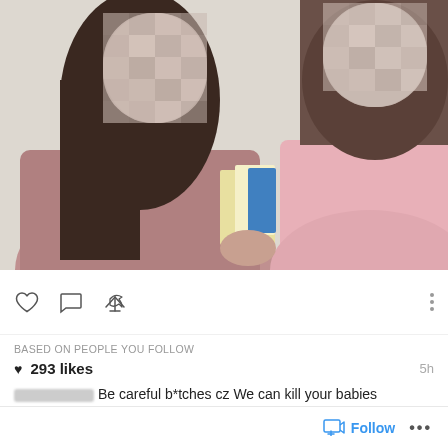[Figure (photo): Instagram post photo showing two people with blurred/pixelated faces wearing pink scrubs or medical attire, one holding what appears to be cards or papers. Faces are obscured for privacy.]
293 likes  5h
BASED ON PEOPLE YOU FOLLOW
[username blurred] Be careful b*tches cz We can kill your babies #OneDay 🙂 #Stage#HDF#NoMoreTimeToParty... more
Follow ...